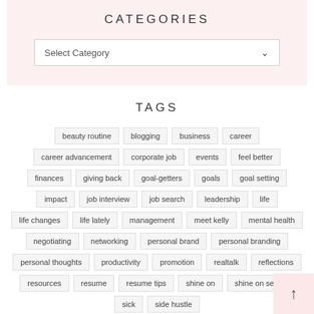CATEGORIES
Select Category
TAGS
beauty routine
blogging
business
career
career advancement
corporate job
events
feel better
finances
giving back
goal-getters
goals
goal setting
impact
job interview
job search
leadership
life
life changes
life lately
management
meet kelly
mental health
negotiating
networking
personal brand
personal branding
personal thoughts
productivity
promotion
realtalk
reflections
resources
resume
resume tips
shine on
shine on series
sick
side hustle